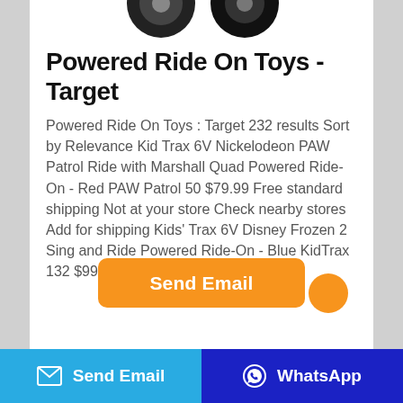[Figure (illustration): Partial view of toy wheel/tire at top of card]
Powered Ride On Toys - Target
Powered Ride On Toys : Target 232 results Sort by Relevance Kid Trax 6V Nickelodeon PAW Patrol Ride with Marshall Quad Powered Ride-On - Red PAW Patrol 50 $79.99 Free standard shipping Not at your store Check nearby stores Add for shipping Kids' Trax 6V Disney Frozen 2 Sing and Ride Powered Ride-On - Blue KidTrax 132 $99.99 Free standard shipping
[Figure (other): Orange Send Email button (partially visible)]
[Figure (other): Small orange circle icon at bottom right of card]
Send Email  |  WhatsApp